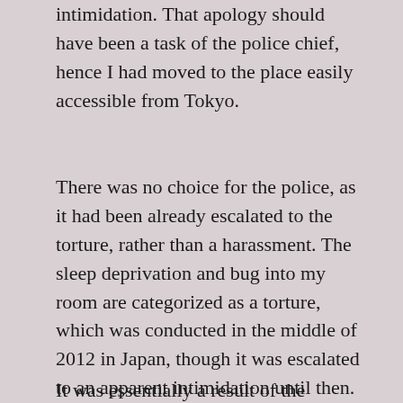intimidation. That apology should have been a task of the police chief, hence I had moved to the place easily accessible from Tokyo.
There was no choice for the police, as it had been already escalated to the torture, rather than a harassment. The sleep deprivation and bug into my room are categorized as a torture, which was conducted in the middle of 2012 in Japan, though it was escalated to an apparent intimidation until then.
It was essentially a result of the performance of